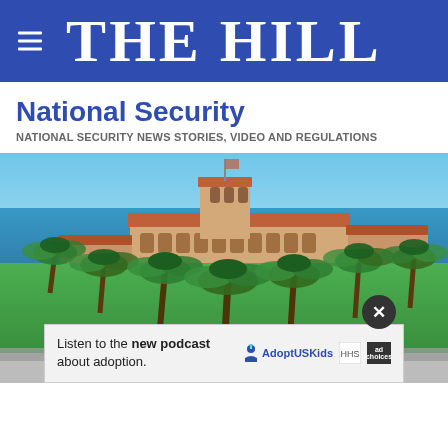THE HILL
National Security
NATIONAL SECURITY NEWS STORIES, VIDEO AND REGULATIONS
[Figure (photo): Aerial/ground view of a large Mediterranean-style estate (Mar-a-Lago style) with red tile roofs, surrounded by tall palm trees and lush green lawns, with ocean/blue water visible in the background under a blue sky.]
Listen to the new podcast about adoption.
[Figure (logo): Adopt US Kids logo with person icon]